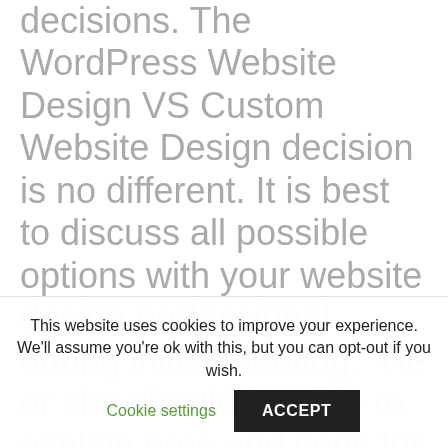decisions. The WordPress Website Design VS Custom Website Design decision is no different. It is best to discuss all possible options with your website design professional during initial meeting.  He or she should be able to explain pros and cons for both options for your specific project. Honestly, both options are good in their own merit.  The right choice will depend on your specifications
This website uses cookies to improve your experience. We'll assume you're ok with this, but you can opt-out if you wish.
Cookie settings
ACCEPT